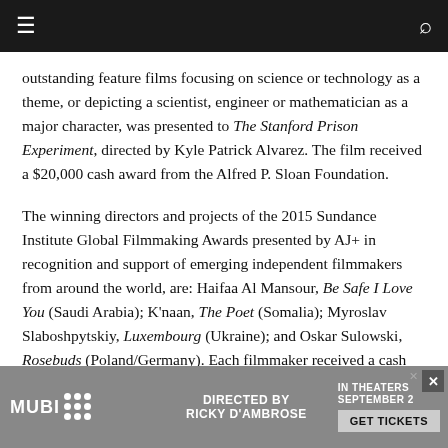Navigation bar with hamburger menu and search icon
outstanding feature films focusing on science or technology as a theme, or depicting a scientist, engineer or mathematician as a major character, was presented to The Stanford Prison Experiment, directed by Kyle Patrick Alvarez. The film received a $20,000 cash award from the Alfred P. Sloan Foundation.
The winning directors and projects of the 2015 Sundance Institute Global Filmmaking Awards presented by AJ+ in recognition and support of emerging independent filmmakers from around the world, are: Haifaa Al Mansour, Be Safe I Love You (Saudi Arabia); K'naan, The Poet (Somalia); Myroslav Slaboshpytskiy, Luxembourg (Ukraine); and Oskar Sulowski, Rosebuds (Poland/Germany). Each filmmaker received a cash award of $10,000.
The Sundance Institute/NHK Award, honoring and supporting emerging filmmakers, was presented to Laure de Clermont-Tonnerre, writer-dir...
The 2015 ... and
[Figure (other): Advertisement banner for MUBI streaming service featuring a film directed by Ricky D'Ambrose, in theaters September 2, with Get Tickets button]